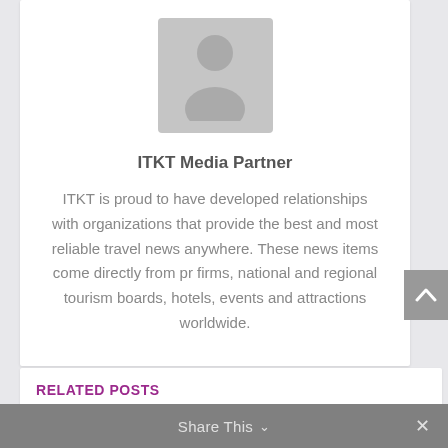[Figure (illustration): Gray placeholder avatar icon with person silhouette on gray square background]
ITKT Media Partner
ITKT is proud to have developed relationships with organizations that provide the best and most reliable travel news anywhere. These news items come directly from pr firms, national and regional tourism boards, hotels, events and attractions worldwide.
RELATED POSTS
Share This  ∨  ×